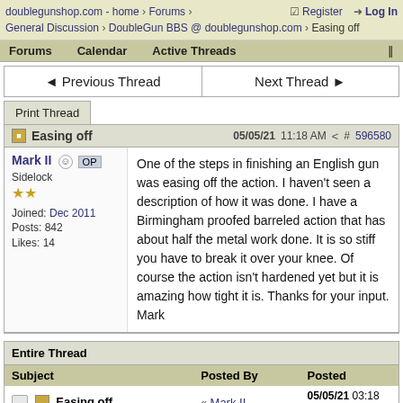doublegunshop.com - home > Forums > Register Log In General Discussion > DoubleGun BBS @ doublegunshop.com > Easing off
Forums   Calendar   Active Threads   ||
◄ Previous Thread   Next Thread ►
Print Thread
Easing off   05/05/21 11:18 AM   #596580
Mark II  OP
Sidelock
★★
Joined: Dec 2011
Posts: 842
Likes: 14
One of the steps in finishing an English gun was easing off the action. I haven't seen a description of how it was done. I have a Birmingham proofed barreled action that has about half the metal work done. It is so stiff you have to break it over your knee. Of course the action isn't hardened yet but it is amazing how tight it is. Thanks for your input. Mark
Entire Thread
| Subject | Posted By | Posted |
| --- | --- | --- |
| Easing off | Mark II | 05/05/21 03:18 PM |
|  | me | 05/05/21 04:24 PM |